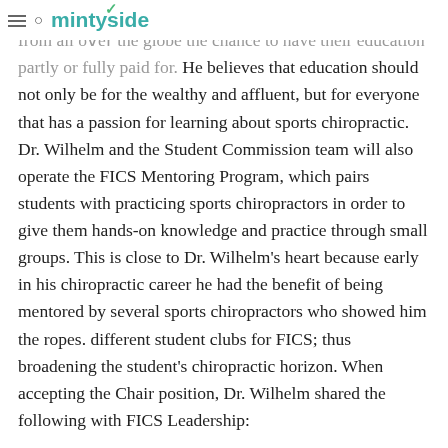mintyside logo with hamburger and search icons
Scholarships and Awards, allowing outstanding students from all over the globe the chance to have their education partly or fully paid for. He believes that education should not only be for the wealthy and affluent, but for everyone that has a passion for learning about sports chiropractic. Dr. Wilhelm and the Student Commission team will also operate the FICS Mentoring Program, which pairs students with practicing sports chiropractors in order to give them hands-on knowledge and practice through small groups. This is close to Dr. Wilhelm's heart because early in his chiropractic career he had the benefit of being mentored by several sports chiropractors who showed him the ropes. different student clubs for FICS; thus broadening the student's chiropractic horizon. When accepting the Chair position, Dr. Wilhelm shared the following with FICS Leadership:
“Thank you for your kind words of welcome and well wishes.